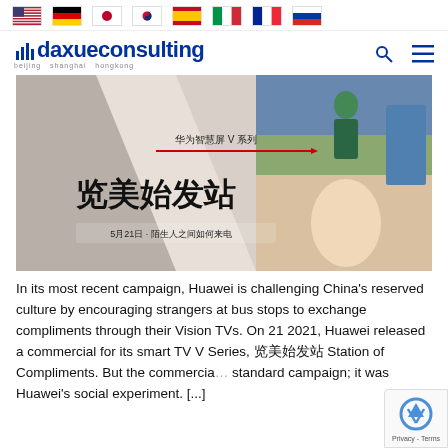Flag icons: US, Germany, Japan, South Korea, Spain, Italy, France, Russia
[Figure (logo): Daxue Consulting logo with bar chart icon, subtitle: beijing shanghai hongkong, with search and hamburger menu icons]
[Figure (photo): Huawei Vision V Series advertisement banner with Chinese text: 华为智慧屏 V 系列, 览美始发站, 5月21日·陌生人之间如何来电. Shows women at bus stops and a person using a screen.]
In its most recent campaign, Huawei is challenging China's reserved culture by encouraging strangers at bus stops to exchange compliments through their Vision TVs. On 21 2021, Huawei released a commercial for its smart TV V Series, 览美始发站 Station of Compliments. But the commercial standard campaign; it was Huawei's social experiment. […]